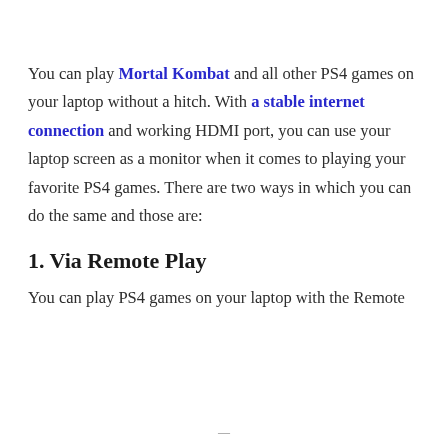You can play Mortal Kombat and all other PS4 games on your laptop without a hitch. With a stable internet connection and working HDMI port, you can use your laptop screen as a monitor when it comes to playing your favorite PS4 games. There are two ways in which you can do the same and those are:
1. Via Remote Play
You can play PS4 games on your laptop with the Remote